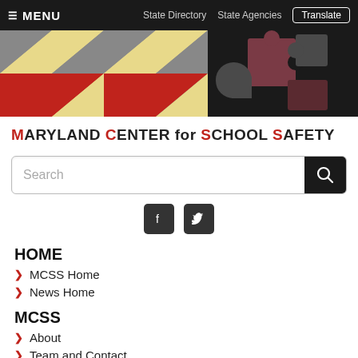MENU | State Directory | State Agencies | Translate
[Figure (illustration): Maryland state flag pattern on left half and school safety puzzle piece graphic on right half against dark background banner]
MARYLAND CENTER for SCHOOL SAFETY
Search
[Figure (infographic): Social media icons: Facebook and Twitter square buttons]
HOME
MCSS Home
News Home
MCSS
About
Team and Contact